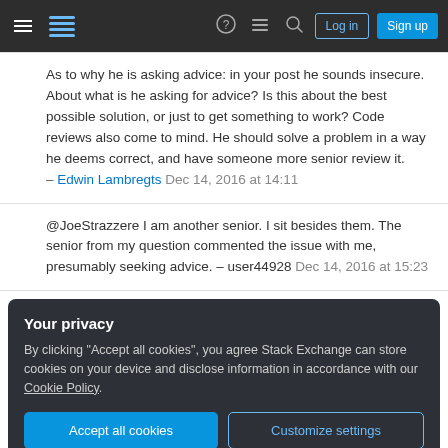Stack Exchange navigation bar with hamburger menu, logo, help, chat, search icons, Log in and Sign up buttons
As to why he is asking advice: in your post he sounds insecure. About what is he asking for advice? Is this about the best possible solution, or just to get something to work? Code reviews also come to mind. He should solve a problem in a way he deems correct, and have someone more senior review it. – Edwin Lambregts Dec 14, 2016 at 14:11
@JoeStrazzere I am another senior. I sit besides them. The senior from my question commented the issue with me, presumably seeking advice. – user44928 Dec 14, 2016 at 15:23
Your privacy
By clicking "Accept all cookies", you agree Stack Exchange can store cookies on your device and disclose information in accordance with our Cookie Policy.
Accept all cookies   Customize settings
@EdwinLambregts re-reading my own comment, it